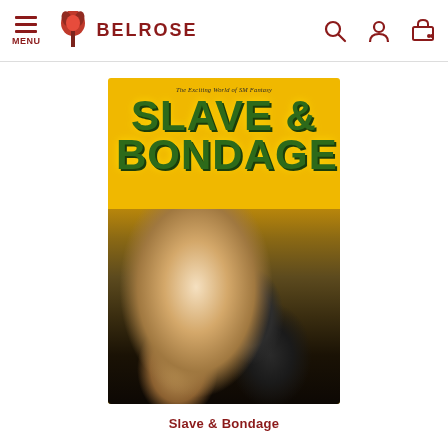MENU | BELROSE
[Figure (photo): Book cover for 'Slave & Bondage' from The Exciting World of SM Fantasy series, yellow cover with green bold title text and photographic imagery below]
Slave & Bondage